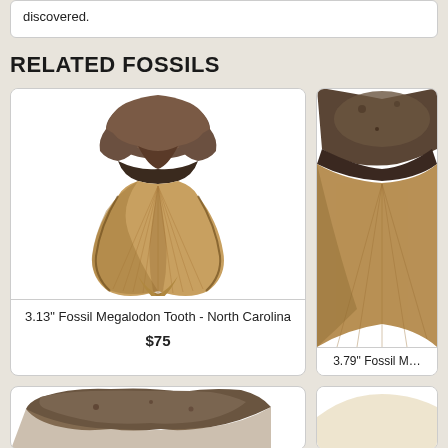discovered.
RELATED FOSSILS
[Figure (photo): 3.13" Fossil Megalodon Tooth - North Carolina, large triangular shark tooth with brown/gray root and tan blade with ridges]
3.13" Fossil Megalodon Tooth - North Carolina
$75
[Figure (photo): 3.79" Fossil Megalodon tooth, partially visible on right side, showing tip and upper portion]
[Figure (photo): Bottom left fossil, partially visible, showing top portion of a megalodon tooth]